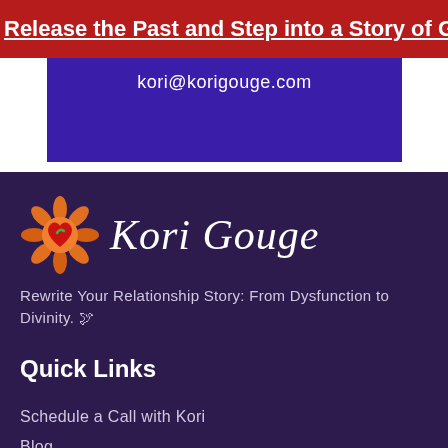Release the Past and Step into a Story of Great LOVE
kori@korigouge.com
[Figure (logo): Kori Gouge brand logo with orange flame/mandala icon containing a red heart, and stylized cursive text 'Kori Gouge']
Rewrite Your Relationship Story: From Dysfunction to Divinity. 🕊
Quick Links
Schedule a Call with Kori
Blog